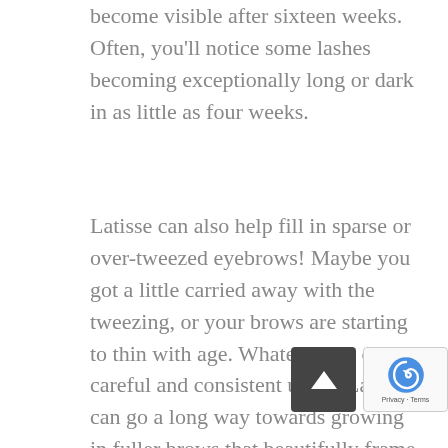become visible after sixteen weeks. Often, you'll notice some lashes becoming exceptionally long or dark in as little as four weeks.
Latisse can also help fill in sparse or over-tweezed eyebrows! Maybe you got a little carried away with the tweezing, or your brows are starting to thin with age. Whatever the case, careful and consistent use of Latisse can go a long way towards growing in fuller brows that beautifully frame your eyes. Since Latisse is only currently FDA approved for use along the lash line, this is considered an “off-label” use the medication; but several women